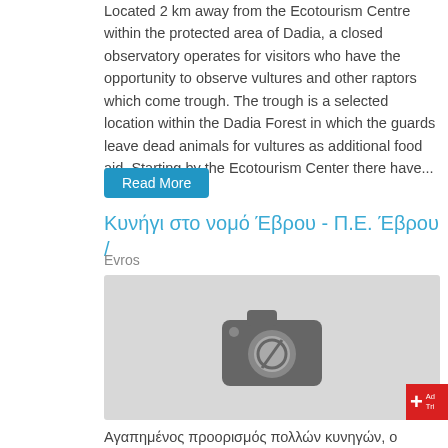Located 2 km away from the Ecotourism Centre within the protected area of Dadia, a closed observatory operates for visitors who have the opportunity to observe vultures and other raptors which come trough. The trough is a selected location within the Dadia Forest in which the guards leave dead animals for vultures as additional food aid. Starting by the Ecotourism Center there have...
Read More
Κυνήγι στο νομό Έβρου - Π.Ε. Έβρου / Evros
[Figure (photo): Image placeholder with camera icon and no-image symbol on grey background]
Αγαπημένος προορισμός πολλών κυνηγών, ο νομός Έβρου θα βοηθεί στα στίγματα που συλλαβόνιτας